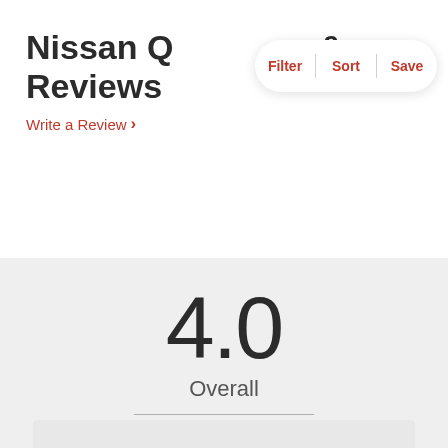Nissan Q... s & Reviews
Filter | Sort | Save
Write a Review ›
4.0
Overall
8 Reviews
View All ›